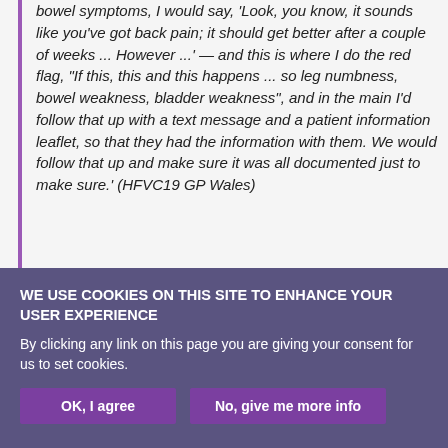bowel symptoms, I would say, 'Look, you know, it sounds like you've got back pain; it should get better after a couple of weeks ... However ...' — and this is where I do the red flag, "If this, this and this happens ... so leg numbness, bowel weakness, bladder weakness", and in the main I'd follow that up with a text message and a patient information leaflet, so that they had the information with them. We would follow that up and make sure it was all documented just to make sure.' (HFVC19 GP Wales)
WE USE COOKIES ON THIS SITE TO ENHANCE YOUR USER EXPERIENCE
By clicking any link on this page you are giving your consent for us to set cookies.